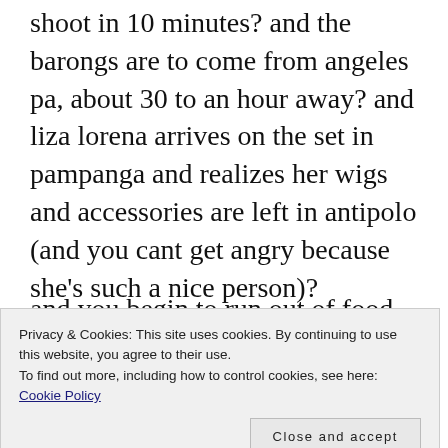shoot in 10 minutes? and the barongs are to come from angeles pa, about 30 to an hour away? and liza lorena arrives on the set in pampanga and realizes her wigs and accessories are left in antipolo (and you cant get angry because she's such a nice person)?
and you begin to run out of food props because the extras started
Privacy & Cookies: This site uses cookies. By continuing to use this website, you agree to their use.
To find out more, including how to control cookies, see here: Cookie Policy
Close and accept
with them? and i sent for a few